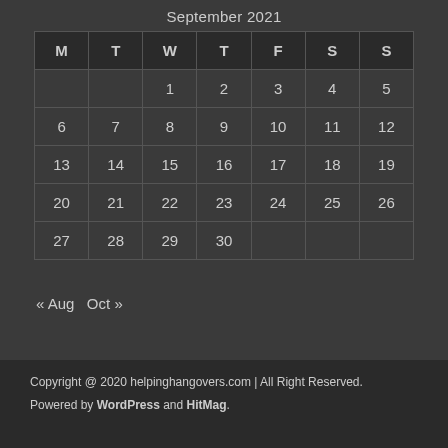September 2021
| M | T | W | T | F | S | S |
| --- | --- | --- | --- | --- | --- | --- |
|  |  | 1 | 2 | 3 | 4 | 5 |
| 6 | 7 | 8 | 9 | 10 | 11 | 12 |
| 13 | 14 | 15 | 16 | 17 | 18 | 19 |
| 20 | 21 | 22 | 23 | 24 | 25 | 26 |
| 27 | 28 | 29 | 30 |  |  |  |
« Aug  Oct »
Copyright @ 2020 helpinghangovers.com | All Right Reserved.
Powered by WordPress and HitMag.